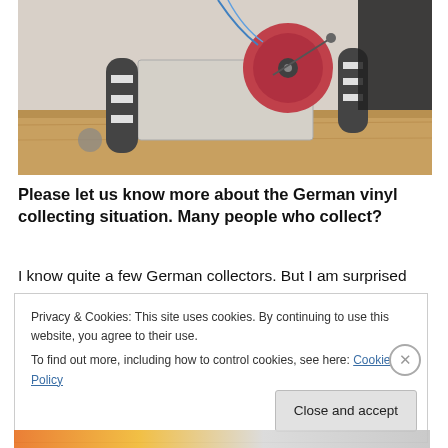[Figure (photo): A turntable/record player with cylindrical metal feet on a wooden surface, viewed from close up. A red vinyl record is on the platter. The device has a white/grey rectangular body with metal components.]
Please let us know more about the German vinyl collecting situation. Many people who collect?
I know quite a few German collectors. But I am surprised
Privacy & Cookies: This site uses cookies. By continuing to use this website, you agree to their use.
To find out more, including how to control cookies, see here: Cookie Policy
Close and accept